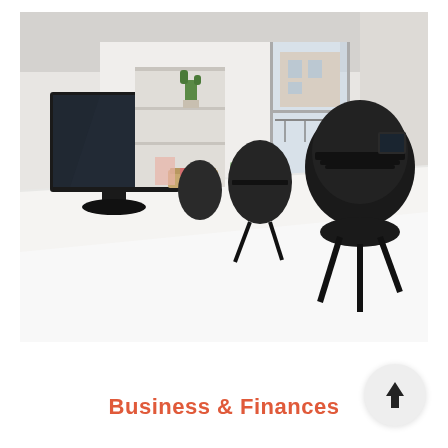[Figure (photo): Office interior with a long white desk, black ergonomic chairs, a computer monitor on the left, small potted cactus plants, light wood flooring, white walls, and a glass door/window in the background letting in natural light.]
Business & Finances